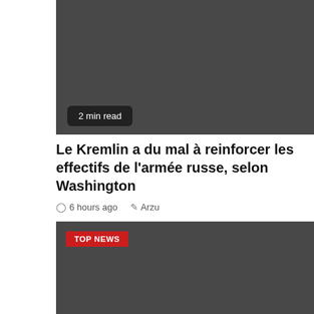[Figure (photo): Dark grey image block at top of article card]
2 min read
Le Kremlin a du mal à reinforcer les effectifs de l'armée russe, selon Washington
6 hours ago   Arzu
[Figure (photo): Dark grey image block for second article card with TOP NEWS badge]
TOP NEWS